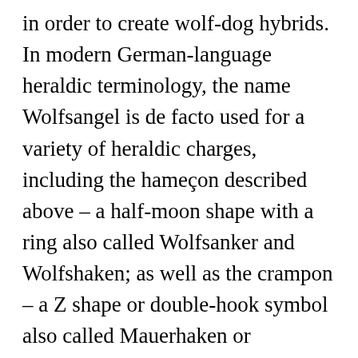in order to create wolf-dog hybrids. In modern German-language heraldic terminology, the name Wolfsangel is de facto used for a variety of heraldic charges, including the hameçon described above – a half-moon shape with a ring also called Wolfsanker and Wolfshaken; as well as the crampon – a Z shape or double-hook symbol also called Mauerhaken or Doppelhaken; and the Ƶ or double-hook symbol with a ring or transversal stroke at the ... to keep the wolf from the door sich über Wasser halten. [prov.] wolf translate: der Wolf, (hinunter)schlingen. German Translation. "A wolf in sheep's clothing is still a wolf," he said. Adolf, derived from the Old High German Athalwolf, a